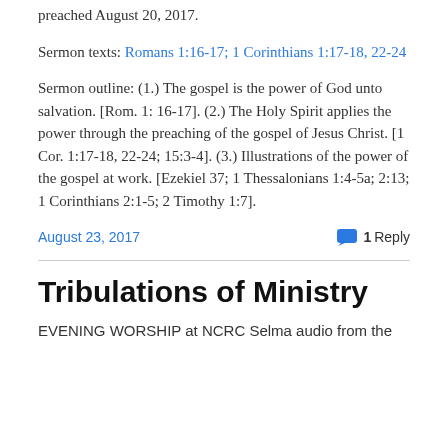preached August 20, 2017.
Sermon texts: Romans 1:16-17; 1 Corinthians 1:17-18, 22-24
Sermon outline: (1.) The gospel is the power of God unto salvation. [Rom. 1: 16-17]. (2.) The Holy Spirit applies the power through the preaching of the gospel of Jesus Christ. [1 Cor. 1:17-18, 22-24; 15:3-4]. (3.) Illustrations of the power of the gospel at work. [Ezekiel 37; 1 Thessalonians 1:4-5a; 2:13; 1 Corinthians 2:1-5; 2 Timothy 1:7].
August 23, 2017    1 Reply
Tribulations of Ministry
EVENING WORSHIP at NCRC Selma audio from the